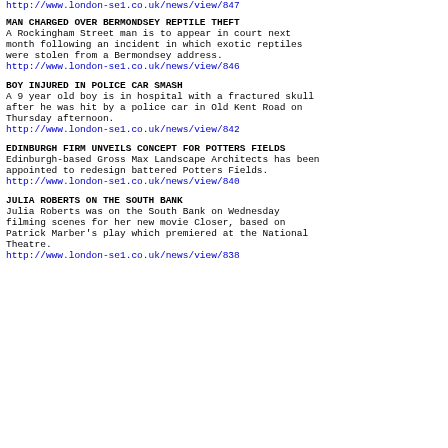http://www.london-se1.co.uk/news/view/847
MAN CHARGED OVER BERMONDSEY REPTILE THEFT
A Rockingham Street man is to appear in court next month following an incident in which exotic reptiles were stolen from a Bermondsey address.
http://www.london-se1.co.uk/news/view/846
BOY INJURED IN POLICE CAR SMASH
A 9 year old boy is in hospital with a fractured skull after he was hit by a police car in Old Kent Road on Thursday afternoon.
http://www.london-se1.co.uk/news/view/842
EDINBURGH FIRM UNVEILS CONCEPT FOR POTTERS FIELDS
Edinburgh-based Gross Max Landscape Architects has been appointed to redesign battered Potters Fields.
http://www.london-se1.co.uk/news/view/840
JULIA ROBERTS ON THE SOUTH BANK
Julia Roberts was on the South Bank on Wednesday filming scenes for her new movie Closer, based on Patrick Marber's play which premiered at the National Theatre.
http://www.london-se1.co.uk/news/view/838